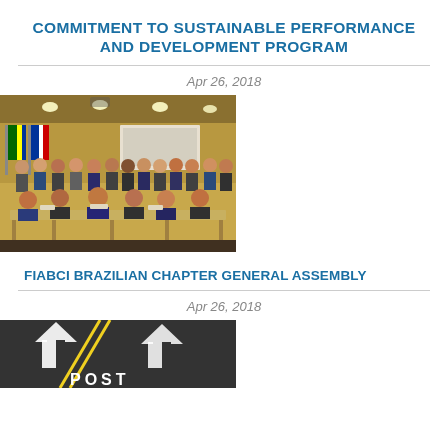COMMITMENT TO SUSTAINABLE PERFORMANCE AND DEVELOPMENT PROGRAM
Apr 26, 2018
[Figure (photo): Group photo of approximately 25-30 people in a meeting room, some seated at a long table and others standing behind, in front of flags and a projector screen.]
FIABCI BRAZILIAN CHAPTER GENERAL ASSEMBLY
Apr 26, 2018
[Figure (photo): Aerial or angled view of a road with white arrow markings pointing forward and the word POST partially visible at the bottom, on dark asphalt.]